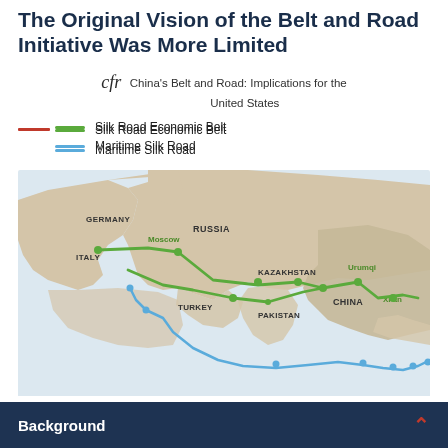The Original Vision of the Belt and Road Initiative Was More Limited
cfr  China's Belt and Road: Implications for the United States
Silk Road Economic Belt
Maritime Silk Road
[Figure (map): Map showing the original Belt and Road Initiative routes across Eurasia. The green line (Silk Road Economic Belt) runs overland from China (Xi'an, Urumqi) through Kazakhstan, Russia (Moscow), Turkey, and on to Germany and Italy. The blue line (Maritime Silk Road) runs along the southern coast from China through the Indian Ocean region. Countries labeled include Russia, Kazakhstan, China, Germany, Italy, Turkey, Pakistan. Cities marked include Moscow, Urumqi, Xi'an.]
Background